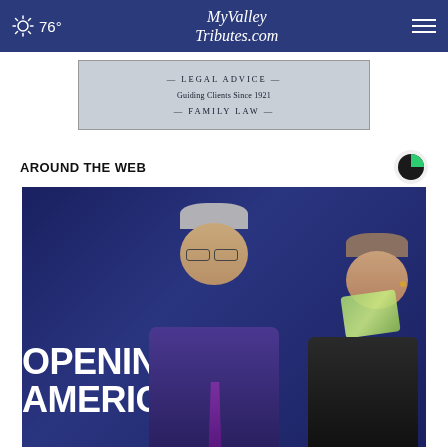76° MyValleyTributes.com
[Figure (photo): Advertisement banner: — LEGAL ADVICE — Guiding Clients Since 1921 — FAMILY LAW —]
AROUND THE WEB
[Figure (photo): Photo of two individuals standing in front of a blue backdrop reading 'OPENING AMERICA'. A man with gray hair and glasses wearing a purple shirt and dark tie stands in the center. A woman in a black jacket with a green scarf is visible on the right.]